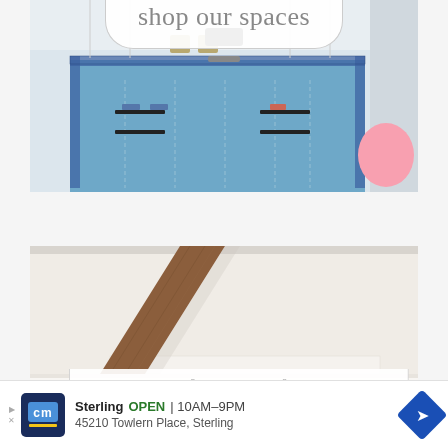[Figure (photo): Overhead view of an indoor swimming pool with blue tile border, pool floats including a pink flamingo float, and surrounding white walls. A decorative banner overlay at top reads 'shop our spaces'.]
[Figure (photo): Interior photo showing a wooden diagonal beam or shelf element against a white wall, with a decorative banner overlay at the bottom, partially visible.]
Sterling   OPEN | 10AM–9PM
45210 Towlern Place, Sterling